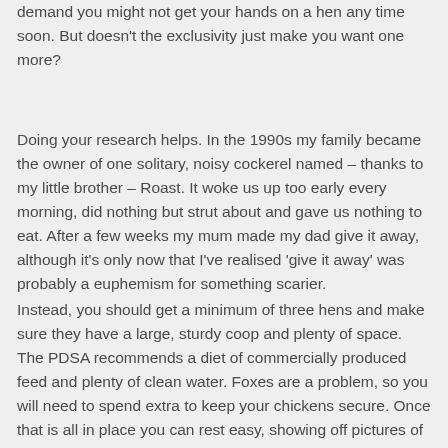demand you might not get your hands on a hen any time soon. But doesn't the exclusivity just make you want one more?
Doing your research helps. In the 1990s my family became the owner of one solitary, noisy cockerel named – thanks to my little brother – Roast. It woke us up too early every morning, did nothing but strut about and gave us nothing to eat. After a few weeks my mum made my dad give it away, although it's only now that I've realised 'give it away' was probably a euphemism for something scarier.
Instead, you should get a minimum of three hens and make sure they have a large, sturdy coop and plenty of space. The PDSA recommends a diet of commercially produced feed and plenty of clean water. Foxes are a problem, so you will need to spend extra to keep your chickens secure. Once that is all in place you can rest easy, showing off pictures of your little pals on Instagram.